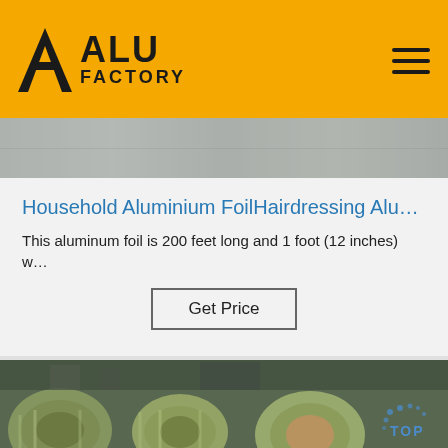ALU FACTORY
[Figure (photo): Top strip showing aluminum foil product image in grey tones]
Household Aluminium FoilHairdressing Alu…
This aluminum foil is 200 feet long and 1 foot (12 inches) w…
Get Price
[Figure (photo): Factory floor showing large rolls/coils of green-tinted aluminium foil with a TOP watermark in the bottom-right corner]